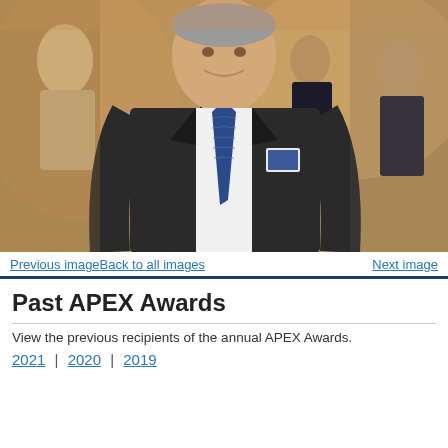[Figure (photo): A smiling man in a dark suit with a blue patterned tie and name badge stands in the foreground at an event. Several people are visible in the blurred background at what appears to be a formal gathering or awards ceremony.]
Previous imageBack to all images    Next image
Past APEX Awards
View the previous recipients of the annual APEX Awards.
2021 | 2020 | 2019